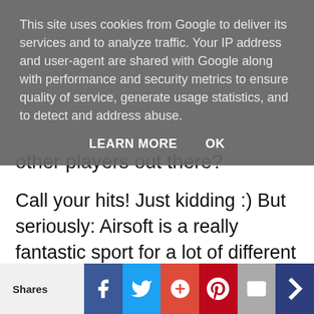This site uses cookies from Google to deliver its services and to analyze traffic. Your IP address and user-agent are shared with Google along with performance and security metrics to ensure quality of service, generate usage statistics, and to detect and address abuse.
LEARN MORE   OK
other players out there?
Call your hits!  Just kidding :)  But seriously: Airsoft is a really fantastic sport for a lot of different reasons and for it to grow into something even more fantastic there needs to be diversity within the community.  Different genders and age groups and racial backgrounds are things the community can only benefit from so be respectful, be honourable, and get out and r
Shares